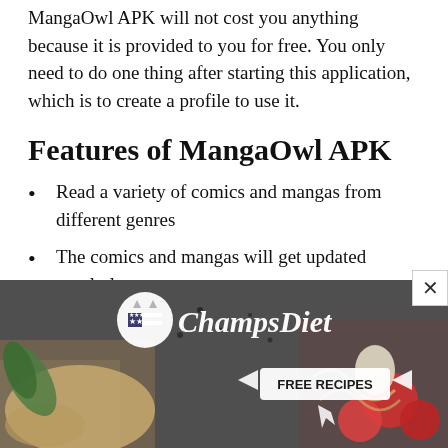MangaOwl APK will not cost you anything because it is provided to you for free. You only need to do one thing after starting this application, which is to create a profile to use it.
Features of MangaOwl APK
Read a variety of comics and mangas from different genres
The comics and mangas will get updated regularly
There is no premium edition for this
[Figure (photo): ChampsDiet advertisement banner with food imagery, logo, and FREE RECIPES button]